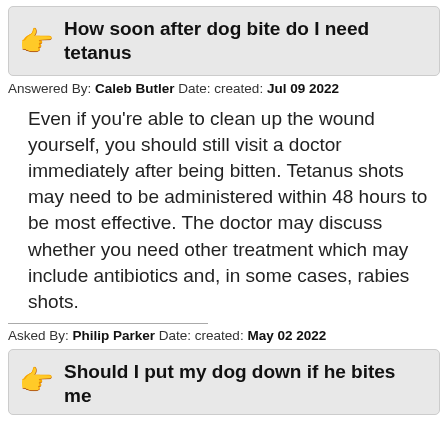How soon after dog bite do I need tetanus
Answered By: Caleb Butler Date: created: Jul 09 2022
Even if you’re able to clean up the wound yourself, you should still visit a doctor immediately after being bitten. Tetanus shots may need to be administered within 48 hours to be most effective. The doctor may discuss whether you need other treatment which may include antibiotics and, in some cases, rabies shots.
Asked By: Philip Parker Date: created: May 02 2022
Should I put my dog down if he bites me